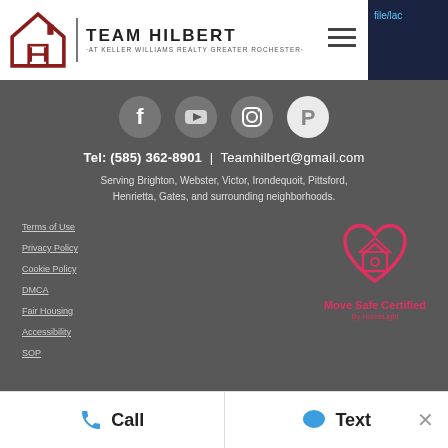[Figure (logo): Team Hilbert logo with house icon and 'TEAM HILBERT AT KELLER WILLIAMS REALTY GREATER ROCHESTER' text]
file/lac
[Figure (infographic): Social media icons row: Facebook, YouTube, Instagram, Pinterest]
Tel: (585) 362-8901 | Teamhilbert@gmail.com
Serving Brighton, Webster, Victor, Irondequoit, Pittsford, Henrietta, Gates, and surrounding neighborhoods.
Terms of Use
Privacy Policy
Cookie Policy
DMCA
Fair Housing
Accessibility
SOP
[Figure (logo): Move Safe Certified by HomeLight badge with heart/house icon]
© 2022 Team Hilbert -Keller Williams Realty Greater Rochester
Call
Text